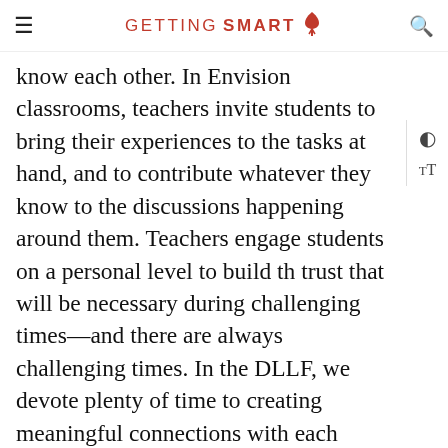GETTING SMART
know each other. In Envision classrooms, teachers invite students to bring their experiences to the tasks at hand, and to contribute whatever they know to the discussions happening around them. Teachers engage students on a personal level to build the trust that will be necessary during challenging times—and there are always challenging times. In the DLLF, we devote plenty of time to creating meaningful connections with each other and intentionally creating a shared experience that will engage and inspire the members. This is so important that it is reflected in the DLLF's Essential Question for the entire 2-year experience: how does a shared experience